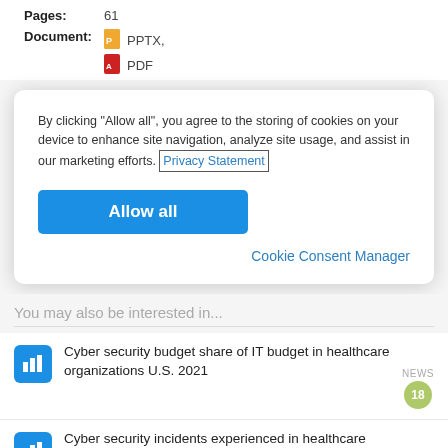Pages: 61
Document: PPTX, PDF
By clicking “Allow all”, you agree to the storing of cookies on your device to enhance site navigation, analyze site usage, and assist in our marketing efforts. Privacy Statement
Allow all
Cookie Consent Manager
You may also be interested in...
Cyber security budget share of IT budget in healthcare organizations U.S. 2021
Cyber security incidents experienced in healthcare